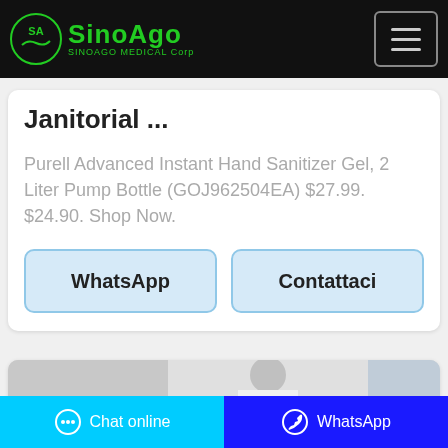[Figure (logo): SinoAgo Medical Corp logo with circular emblem and green text on black header]
Janitorial ...
Purell Advanced Instant Hand Sanitizer Gel, 2 Liter Pump Bottle (GOJ962504EA) $27.99. $24.90. Shop Now.
WhatsApp
Contattaci
[Figure (photo): Person in white lab coat, partial view, bottom of page card]
Chat online
WhatsApp